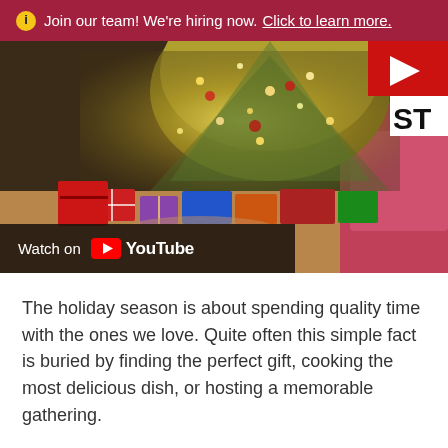Join our team! We're hiring now. Click to learn more.
[Figure (photo): Christmas tree with presents underneath, pink sofa in background. YouTube video player overlay with 'Watch on YouTube' bar at bottom and partial YouTube logo in top right corner.]
The holiday season is about spending quality time with the ones we love. Quite often this simple fact is buried by finding the perfect gift, cooking the most delicious dish, or hosting a memorable gathering.